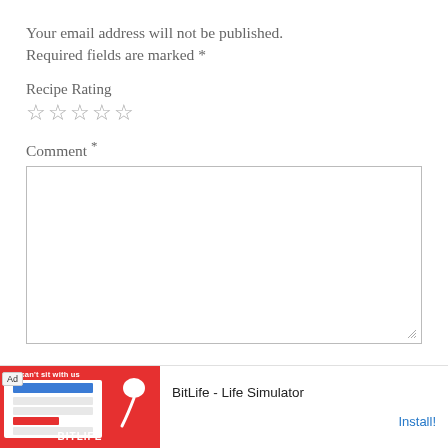Your email address will not be published. Required fields are marked *
Recipe Rating
☆☆☆☆☆
Comment *
[Figure (screenshot): Empty comment text area input box with resize handle]
Name
[Figure (screenshot): Advertisement banner for BitLife - Life Simulator app with Install button]